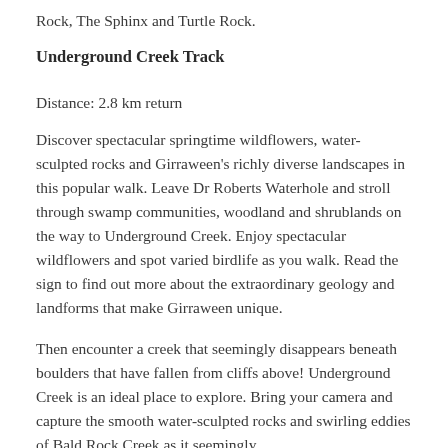Rock, The Sphinx and Turtle Rock.
Underground Creek Track
Distance: 2.8 km return
Discover spectacular springtime wildflowers, water-sculpted rocks and Girraween's richly diverse landscapes in this popular walk. Leave Dr Roberts Waterhole and stroll through swamp communities, woodland and shrublands on the way to Underground Creek. Enjoy spectacular wildflowers and spot varied birdlife as you walk. Read the sign to find out more about the extraordinary geology and landforms that make Girraween unique.
Then encounter a creek that seemingly disappears beneath boulders that have fallen from cliffs above! Underground Creek is an ideal place to explore. Bring your camera and capture the smooth water-sculpted rocks and swirling eddies of Bald Rock Creek as it seemingly disappears beneath t...